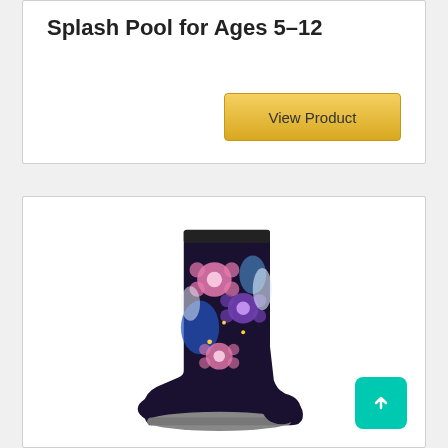Splash Pool for Ages 5-12
[Figure (other): View Product button - golden/yellow colored button]
[Figure (photo): Colorful floral-patterned rubber rain boot with black background and pink, purple, blue flower design]
[Figure (other): Scroll to top button - teal/cyan square button with upward arrow]